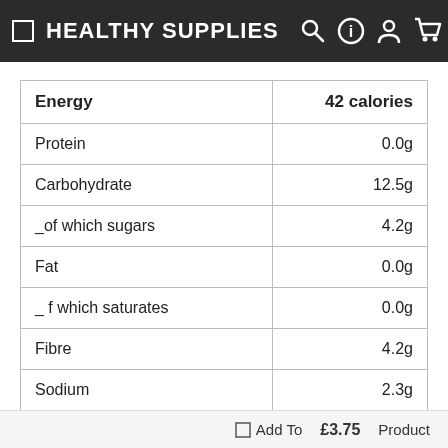HEALTHY SUPPLIES
|  |  |
| --- | --- |
| Energy | 42 calories |
| Protein | 0.0g |
| Carbohydrate | 12.5g |
| _of which sugars | 4.2g |
| Fat | 0.0g |
| _ f which saturates | 0.0g |
| Fibre | 4.2g |
| Sodium | 2.3g |
Vegetarian, Vegan.
Add To   £3.75   Product